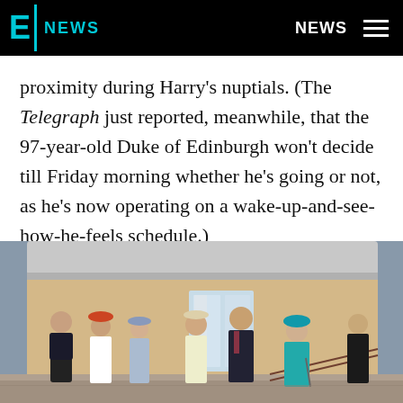E! NEWS — NEWS
proximity during Harry's nuptials. (The Telegraph just reported, meanwhile, that the 97-year-old Duke of Edinburgh won't decide till Friday morning whether he's going or not, as he's now operating on a wake-up-and-see-how-he-feels schedule.)
[Figure (photo): Members of the British Royal Family including Queen Elizabeth II in a teal coat and hat, Prince Philip, Prince William, and other royals walking outside Buckingham Palace at a garden party.]